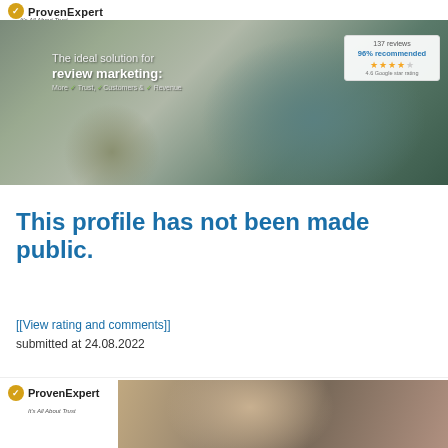[Figure (screenshot): ProvenExpert banner advertisement showing woman at laptop with rating overlay: 137 reviews, 96% recommended, 4.6 Google star rating. Text overlay: 'The ideal solution for review marketing: More Trust, Customers & Revenue']
This profile has not been made public.
[[View rating and comments]]
submitted at 24.08.2022
[Figure (screenshot): ProvenExpert logo and partial banner image at bottom of page]